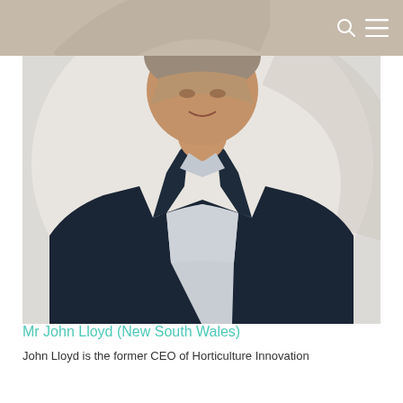Navigation bar with search and menu icons
[Figure (photo): Professional headshot of a middle-aged man wearing a dark navy blazer over a light blue patterned shirt, photographed against a white/light grey background. The photo shows his head, shoulders and upper torso, and he is smiling slightly.]
Mr John Lloyd (New South Wales)
John Lloyd is the former CEO of Horticulture Innovation